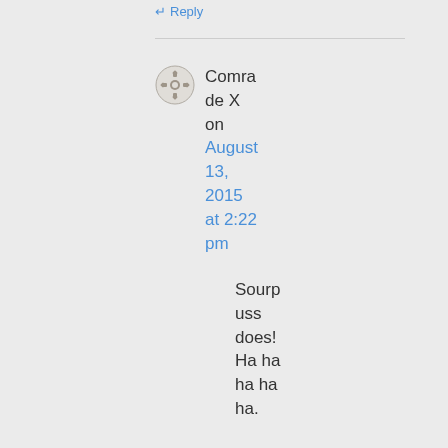↵ Reply
Comrade X on August 13, 2015 at 2:22 pm
Sourpuss does! Ha ha ha ha ha.